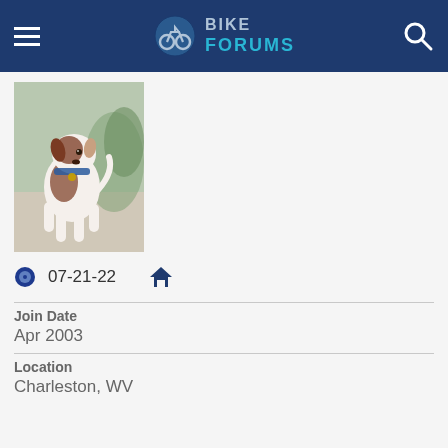Bike Forums
[Figure (photo): Profile avatar photo of a brown and white dog (appears to be a Jack Russell Terrier or similar breed) running or walking on a light surface, with a plant/leaves visible in the background.]
07-21-22
Join Date
Apr 2003
Location
Charleston, WV
Posts:
18,150
Likes: 20
Liked 86 Times in 31 Posts